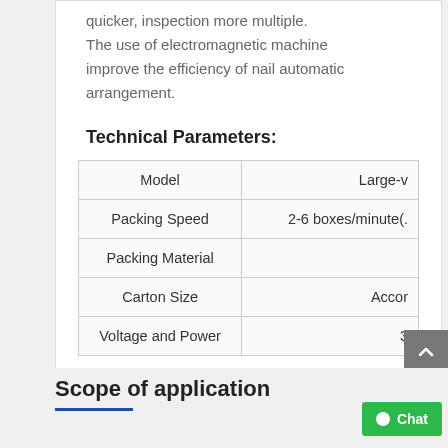quicker, inspection more multiple. The use of electromagnetic machine improve the efficiency of nail automatic arrangement.
Technical Parameters:
| Model | Large-v... |
| --- | --- |
| Packing Speed | 2-6 boxes/minute(... |
| Packing Material |  |
| Carton Size | Accor... |
| Voltage and Power | 3... |
Scope of application